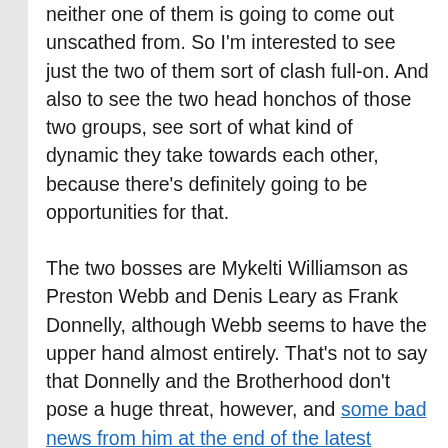neither one of them is going to come out unscathed from. So I'm interested to see just the two of them sort of clash full-on. And also to see the two head honchos of those two groups, see sort of what kind of dynamic they take towards each other, because there's definitely going to be opportunities for that.
The two bosses are Mykelti Williamson as Preston Webb and Denis Leary as Frank Donnelly, although Webb seems to have the upper hand almost entirely. That's not to say that Donnelly and the Brotherhood don't pose a huge threat, however, and some bad news from him at the end of the latest episode shook Stabler to his core. That news will lead